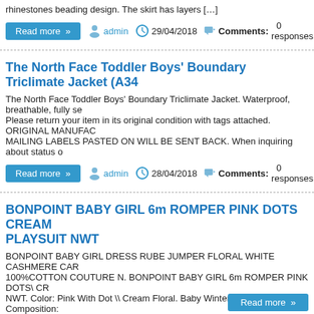rhinestones beading design. The skirt has layers […]
admin  29/04/2018  Comments: 0 responses
The North Face Toddler Boys' Boundary Triclimate Jacket (A34…
The North Face Toddler Boys' Boundary Triclimate Jacket. Waterproof, breathable, fully se… Please return your item in its original condition with tags attached. ORIGINAL MANUFAC… MAILING LABELS PASTED ON WILL BE SENT BACK. When inquiring about status o…
admin  28/04/2018  Comments: 0 responses
BONPOINT BABY GIRL 6m ROMPER PINK DOTS CREAM PLAYSUIT NWT
BONPOINT BABY GIRL DRESS RUBE JUMPER FLORAL WHITE CASHMERE CAR… 100%COTTON COUTURE N. BONPOINT BABY GIRL 6m ROMPER PINK DOTS\ CR… NWT. Color: Pink With Dot \\ Cream Floral. Baby Winter 2016 Collection. Composition: … any question.. […]
admin  28/04/2018  Comments: 0 responses